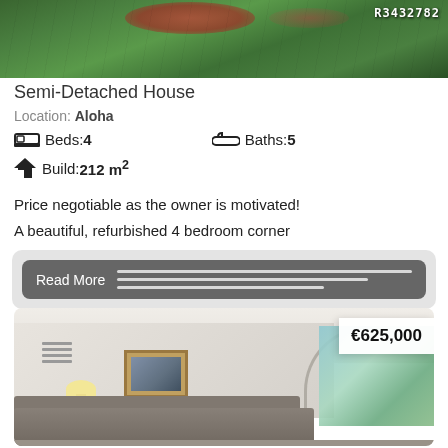[Figure (photo): Aerial view of a property with green garden/trees, partially visible, with text R3432782 in top right corner]
Semi-Detached House
Location: Aloha
Beds:4   Baths:5
Build:212 m²
Price negotiable as the owner is motivated!
A beautiful, refurbished 4 bedroom corner
Read More
[Figure (photo): Interior of a living room with sofa, lamp, picture frame on wall, archway leading to outdoor patio area with garden view, price badge showing €625,000]